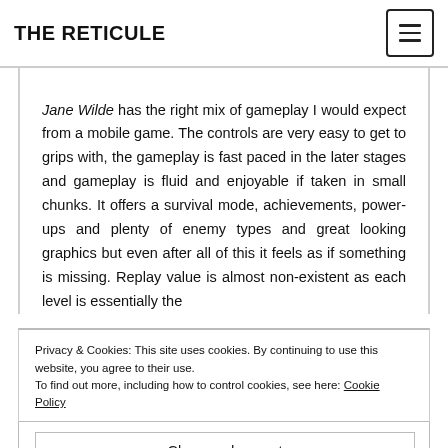THE RETICULE
Jane Wilde has the right mix of gameplay I would expect from a mobile game. The controls are very easy to get to grips with, the gameplay is fast paced in the later stages and gameplay is fluid and enjoyable if taken in small chunks. It offers a survival mode, achievements, power-ups and plenty of enemy types and great looking graphics but even after all of this it feels as if something is missing. Replay value is almost non-existent as each level is essentially the
Privacy & Cookies: This site uses cookies. By continuing to use this website, you agree to their use.
To find out more, including how to control cookies, see here: Cookie Policy
Close and accept
to your upgrades or otherwise. Quite often deaths are